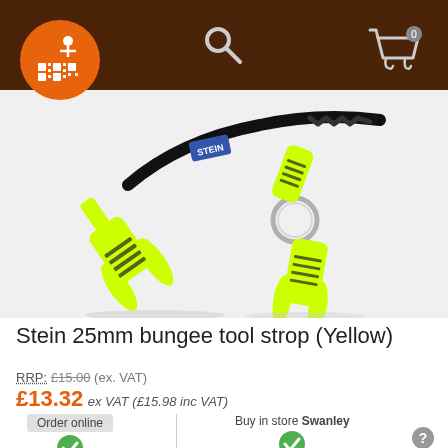Stein 25mm bungee tool strop product page header with logo, search and cart icons
[Figure (photo): Stein 25mm bungee tool strop in yellow/neon green color with black bungee cord and metal ring connector]
Stein 25mm bungee tool strop (Yellow)
RRP: £15.00 (ex. VAT)
£13.32 ex VAT (£15.98 inc VAT)
Order online  Buy in store Swanley